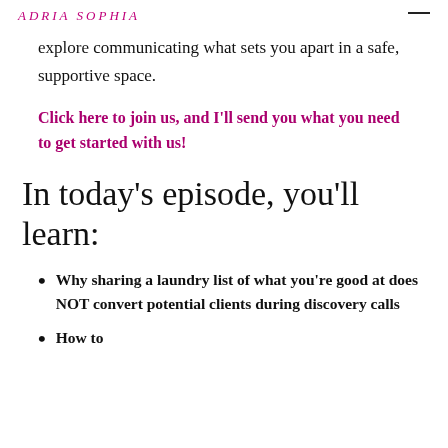ADRIA SOPHIA
explore communicating what sets you apart in a safe, supportive space.
Click here to join us, and I'll send you what you need to get started with us!
In today's episode, you'll learn:
Why sharing a laundry list of what you're good at does NOT convert potential clients during discovery calls
How to...